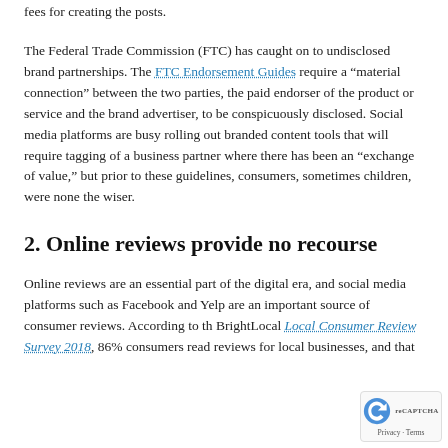fees for creating the posts.
The Federal Trade Commission (FTC) has caught on to undisclosed brand partnerships. The FTC Endorsement Guides require a “material connection” between the two parties, the paid endorser of the product or service and the brand advertiser, to be conspicuously disclosed. Social media platforms are busy rolling out branded content tools that will require tagging of a business partner where there has been an “exchange of value,” but prior to these guidelines, consumers, sometimes children, were none the wiser.
2. Online reviews provide no recourse
Online reviews are an essential part of the digital era, and social media platforms such as Facebook and Yelp are an important source of consumer reviews. According to the BrightLocal Local Consumer Review Survey 2018, 86% consumers read reviews for local businesses, and that